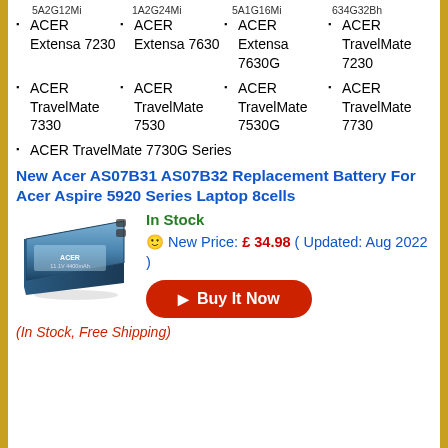5A2G12Mi  1A2G24Mi  5A1G16Mi  634G32Bh (partial top row)
ACER Extensa 7230
ACER Extensa 7630
ACER Extensa 7630G
ACER TravelMate 7230
ACER TravelMate 7330
ACER TravelMate 7530
ACER TravelMate 7530G
ACER TravelMate 7730
ACER TravelMate 7730G Series
New Acer AS07B31 AS07B32 Replacement Battery For Acer Aspire 5920 Series Laptop 8cells
In Stock
🙂 New Price: £ 34.98 ( Updated: Aug 2022 )
▶ Buy It Now
(In Stock, Free Shipping)